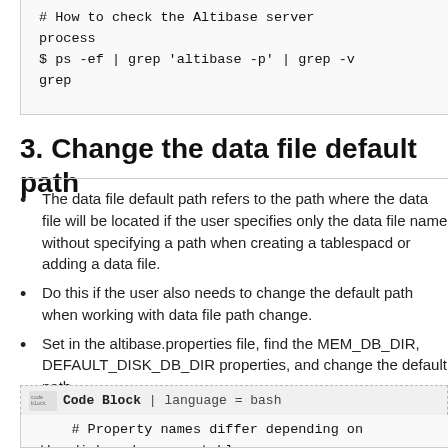# How to check the Altibase server process
$ ps -ef | grep 'altibase -p' | grep -v grep
3. Change the data file default path
The data file default path refers to the path where the data file will be located if the user specifies only the data file name without specifying a path when creating a tablespace or adding a data file.
Do this if the user also needs to change the default path when working with data file path change.
Set in the altibase.properties file, find the MEM_DB_DIR, DEFAULT_DISK_DB_DIR properties, and change the default path.
Code Block | language = bash
# Property names differ depending on the disk and memory tablespaces.
    # Find the properties MEM_DB_DIR